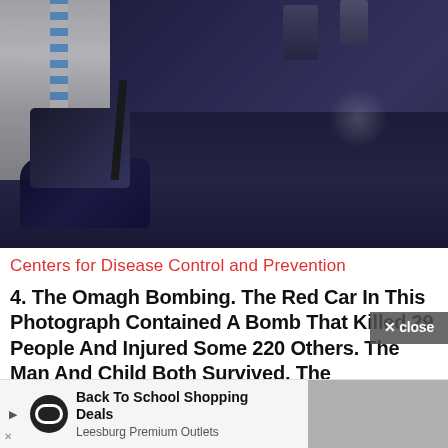[Figure (photo): A dark photograph showing what appears to be people near a street scene, with a figure in a white striped garment on the left, dark pavement, and various objects. Associated with the Omagh bombing.]
Centers for Disease Control and Prevention
4. The Omagh Bombing. The Red Car In This Photograph Contained A Bomb That Killed 29 People And Injured Some 220 Others. The Man And Child Both Survived, The Photographer Didn't
[Figure (other): Advertisement: Back To School Shopping Deals - Leesburg Premium Outlets]